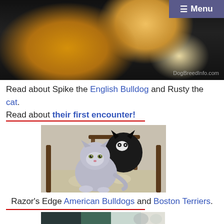[Figure (photo): Top photo of an orange cat (Rusty) and possibly a dog, golden fur visible against dark background, DogBreedInfo.com watermark]
Read about Spike the English Bulldog and Rusty the cat. Read about their first encounter!
[Figure (photo): A fluffy gray kitten in front with a black and white Boston Terrier puppy behind it, indoors on a cushioned surface with chair legs visible]
Razor's Edge American Bulldogs and Boston Terriers.
[Figure (photo): Partial bottom photo, appears to show people or dogs outdoors, partially cropped]